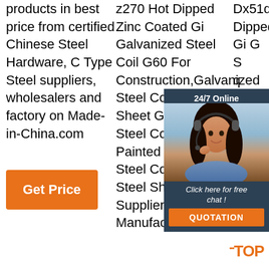products in best price from certified Chinese Steel Hardware, C Type Steel suppliers, wholesalers and factory on Made-in-China.com
[Figure (other): Orange 'Get Price' button]
z270 Hot Dipped Zinc Coated Gi Galvanized Steel Coil G60 For Construction,Galvanized Steel Coil G60,Gi Sheet Galvanized Steel Coil,Pre Painted Galvanized Steel Coil from Steel Sheets Supplier or Manufacturer-
[Figure (other): 24/7 Online chat popup with customer service representative photo, 'Click here for free chat!' text, and orange QUOTATION button]
Dx51d Z30-z270 Hot Dipped Zinc Coated Gi Galvanized Steel Coil For Construction,Hot Dipped Galvanized Steel Galvanize